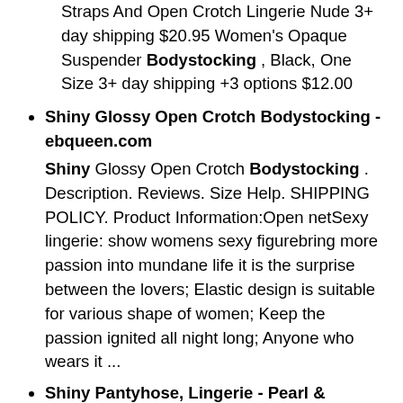Straps And Open Crotch Lingerie Nude 3+ day shipping $20.95 Women's Opaque Suspender Bodystocking , Black, One Size 3+ day shipping +3 options $12.00
Shiny Glossy Open Crotch Bodystocking - ebqueen.com
Shiny Glossy Open Crotch Bodystocking . Description. Reviews. Size Help. SHIPPING POLICY. Product Information:Open netSexy lingerie: show womens sexy figurebring more passion into mundane life it is the surprise between the lovers; Elastic design is suitable for various shape of women; Keep the passion ignited all night long; Anyone who wears it ...
Shiny Pantyhose, Lingerie - Pearl & Poseidon
Sexy & Shiny Pantyhose, Bodystockings , Thigh Highs and Sheer Clothing. Free USA Shipping on